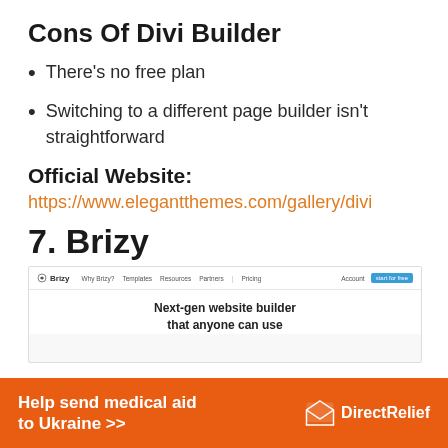Cons Of Divi Builder
There's no free plan
Switching to a different page builder isn't straightforward
Official Website:
https://www.elegantthemes.com/gallery/divi
7. Brizy
[Figure (screenshot): Screenshot of the Brizy website builder homepage showing navigation with logo, menu items (Why Brizy?, Templates, Resources, Partners, Pricing, Account) and a blue 'Start for free' button, with hero text 'Next-gen website builder that anyone can use']
[Figure (infographic): Orange advertisement banner: 'Help send medical aid to Ukraine >>' with Direct Relief logo on the right]